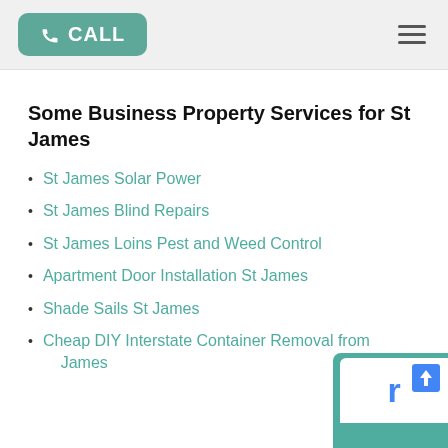CALL
Some Business Property Services for St James
St James Solar Power
St James Blind Repairs
St James Loins Pest and Weed Control
Apartment Door Installation St James
Shade Sails St James
Cheap DIY Interstate Container Removal from James